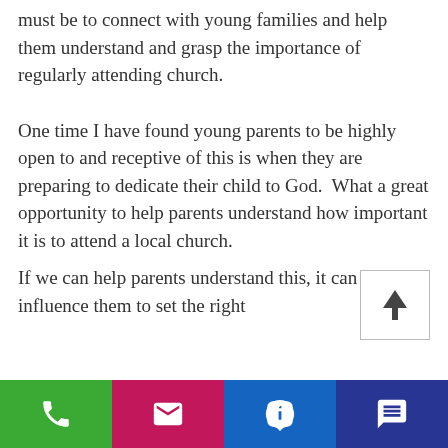must be to connect with young families and help them understand and grasp the importance of regularly attending church.
One time I have found young parents to be highly open to and receptive of this is when they are preparing to dedicate their child to God.  What a great opportunity to help parents understand how important it is to attend a local church.
[Figure (other): Scroll to top button with upward arrow inside a bordered square]
If we can help parents understand this, it can influence them to set the right
[Figure (infographic): Mobile app footer bar with four buttons: phone (green), email (pink/magenta), Facebook (blue), chat (navy)]